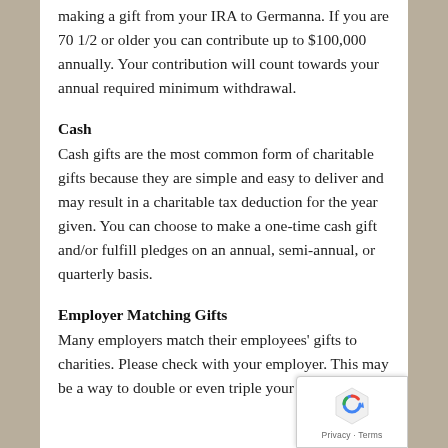making a gift from your IRA to Germanna. If you are 70 1/2 or older you can contribute up to $100,000 annually. Your contribution will count towards your annual required minimum withdrawal.
Cash
Cash gifts are the most common form of charitable gifts because they are simple and easy to deliver and may result in a charitable tax deduction for the year given. You can choose to make a one-time cash gift and/or fulfill pledges on an annual, semi-annual, or quarterly basis.
Employer Matching Gifts
Many employers match their employees' gifts to charities. Please check with your employer. This may be a way to double or even triple your